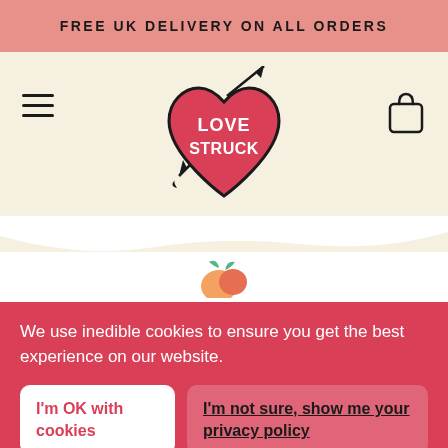FREE UK DELIVERY ON ALL ORDERS
[Figure (logo): Love Struck heart-shaped logo with arrow, red and white]
24 pack = x24
[Figure (illustration): Partially visible peach/strawberry fruit illustration]
We use inedible cookies to ensure you get the best experience on our website.
I'm OK with cookies
I'm not sure, show me your privacy policy